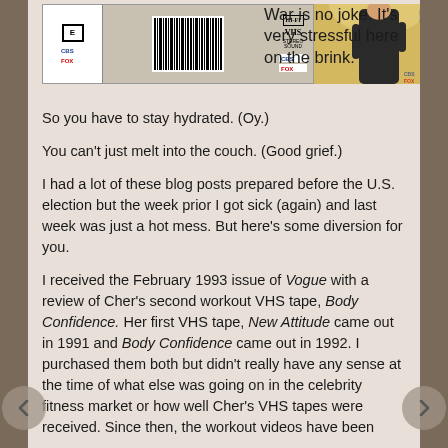[Figure (photo): VHS tape cover on the left showing CBS/Fox logo, rating E box, barcode, Hi-Fi VHS label; person photo on right showing a figure in dark clothing against a yellow/tan background. Also visible are CBS Fox logos.]
War is no joke. It's very stressful here on the brink.
So you have to stay hydrated. (Oy.)
You can't just melt into the couch. (Good grief.)
I had a lot of these blog posts prepared before the U.S. election but the week prior I got sick (again) and last week was just a hot mess. But here's some diversion for you.
I received the February 1993 issue of Vogue with a review of Cher's second workout VHS tape, Body Confidence. Her first VHS tape, New Attitude came out in 1991 and Body Confidence came out in 1992. I purchased them both but didn't really have any sense at the time of what else was going on in the celebrity fitness market or how well Cher's VHS tapes were received. Since then, the workout videos have been